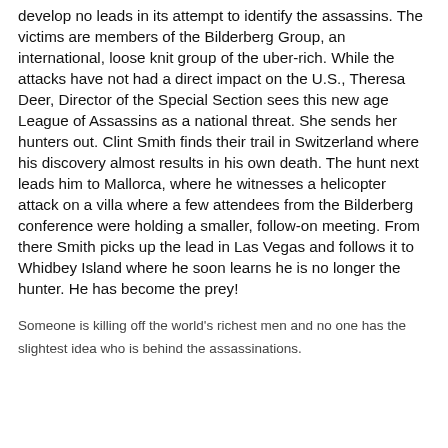develop no leads in its attempt to identify the assassins. The victims are members of the Bilderberg Group, an international, loose knit group of the uber-rich. While the attacks have not had a direct impact on the U.S., Theresa Deer, Director of the Special Section sees this new age League of Assassins as a national threat. She sends her hunters out. Clint Smith finds their trail in Switzerland where his discovery almost results in his own death. The hunt next leads him to Mallorca, where he witnesses a helicopter attack on a villa where a few attendees from the Bilderberg conference were holding a smaller, follow-on meeting. From there Smith picks up the lead in Las Vegas and follows it to Whidbey Island where he soon learns he is no longer the hunter. He has become the prey!
Someone is killing off the world's richest men and no one has the slightest idea who is behind the assassinations.